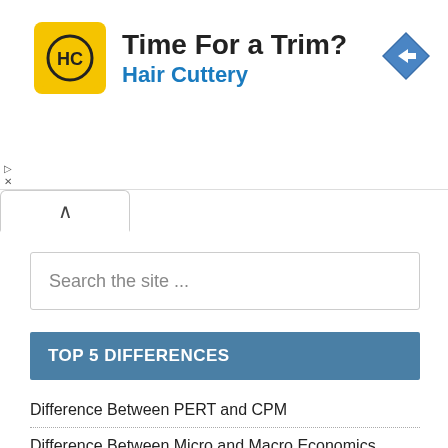[Figure (infographic): Advertisement banner for Hair Cuttery with yellow logo featuring HC initials, bold text 'Time For a Trim?' and blue subtitle 'Hair Cuttery', with a blue diamond navigation icon on the right.]
Search the site ...
TOP 5 DIFFERENCES
Difference Between PERT and CPM
Difference Between Micro and Macro Economics
Difference Between Developed Countries and Developing Countries